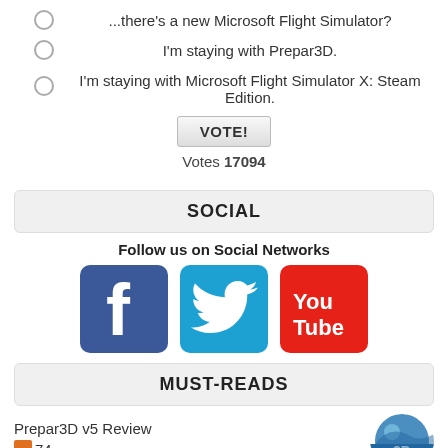...there's a new Microsoft Flight Simulator?
I'm staying with Prepar3D.
I'm staying with Microsoft Flight Simulator X: Steam Edition.
VOTE!
Votes 17094
SOCIAL
Follow us on Social Networks
[Figure (illustration): Facebook, Twitter, and YouTube social media icons]
MUST-READS
Prepar3D v5 Review
74